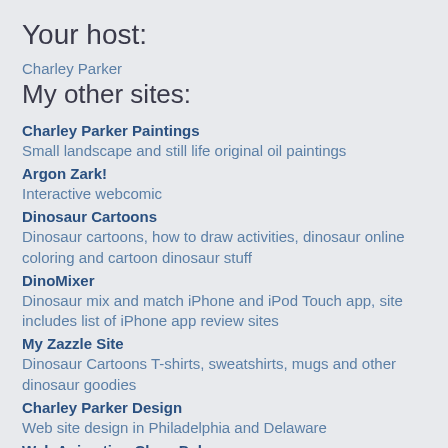Your host:
Charley Parker
My other sites:
Charley Parker Paintings
Small landscape and still life original oil paintings
Argon Zark!
Interactive webcomic
Dinosaur Cartoons
Dinosaur cartoons, how to draw activities, dinosaur online coloring and cartoon dinosaur stuff
DinoMixer
Dinosaur mix and match iPhone and iPod Touch app, site includes list of iPhone app review sites
My Zazzle Site
Dinosaur Cartoons T-shirts, sweatshirts, mugs and other dinosaur goodies
Charley Parker Design
Web site design in Philadelphia and Delaware
Web Animation Class Delaware
A class I teach in HTML5 animation and Adobe Animate at the Delaware College of Art and Design, in the